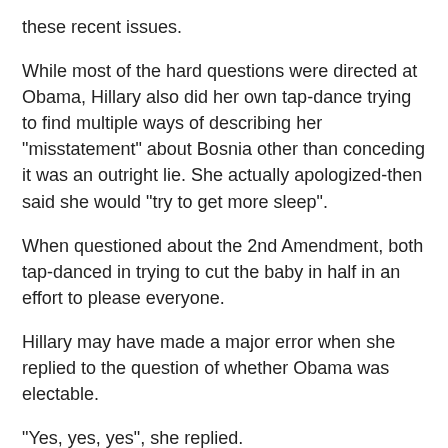these recent issues.
While most of the hard questions were directed at Obama, Hillary also did her own tap-dance trying to find multiple ways of describing her "misstatement" about Bosnia other than conceding it was an outright lie. She actually apologized-then said she would "try to get more sleep".
When questioned about the 2nd Amendment, both tap-danced in trying to cut the baby in half in an effort to please everyone.
Hillary may have made a major error when she replied to the question of whether Obama was electable.
"Yes, yes, yes", she replied.
Stop.
Isn't this in contrast to what she is telling the Superdelegates? Isn't this in contrast to what she told Bill Richardson? If so, this may all come back to haunt Hillary